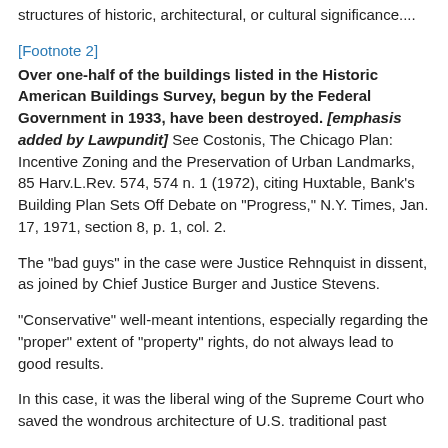structures of historic, architectural, or cultural significance....
[Footnote 2]
Over one-half of the buildings listed in the Historic American Buildings Survey, begun by the Federal Government in 1933, have been destroyed. [emphasis added by Lawpundit] See Costonis, The Chicago Plan: Incentive Zoning and the Preservation of Urban Landmarks, 85 Harv.L.Rev. 574, 574 n. 1 (1972), citing Huxtable, Bank's Building Plan Sets Off Debate on "Progress," N.Y. Times, Jan. 17, 1971, section 8, p. 1, col. 2.
The "bad guys" in the case were Justice Rehnquist in dissent, as joined by Chief Justice Burger and Justice Stevens.
"Conservative" well-meant intentions, especially regarding the "proper" extent of "property" rights, do not always lead to good results.
In this case, it was the liberal wing of the Supreme Court who saved the wondrous architecture of U.S. traditional past